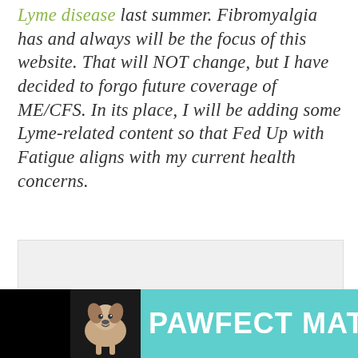Lyme disease last summer. Fibromyalgia has and always will be the focus of this website. That will NOT change, but I have decided to forgo future coverage of ME/CFS. In its place, I will be adding some Lyme-related content so that Fed Up with Fatigue aligns with my current health concerns.
[Figure (other): Advertisement banner for 'PAWFECT MATCH' showing a dog image on teal background with close button]